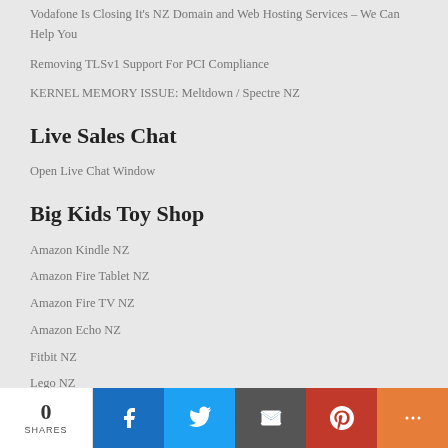Vodafone Is Closing It's NZ Domain and Web Hosting Services – We Can Help You
Removing TLSv1 Support For PCI Compliance
KERNEL MEMORY ISSUE: Meltdown / Spectre NZ
Live Sales Chat
Open Live Chat Window
Big Kids Toy Shop
Amazon Kindle NZ
Amazon Fire Tablet NZ
Amazon Fire TV NZ
Amazon Echo NZ
Fitbit NZ
Lego NZ
Premium Watches
0 SHARES